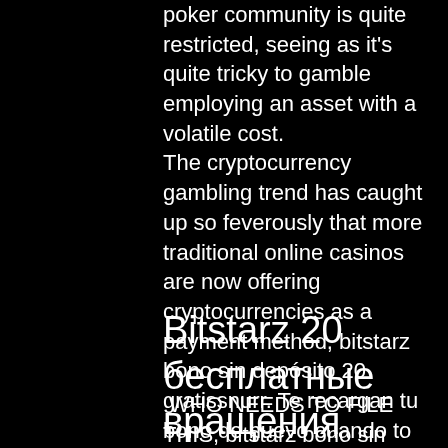poker community is quite restricted, seeing as it's quite tricky to gamble employing an asset with a volatile cost. The cryptocurrency gambling trend has caught up so feverously that more traditional online casinos are now offering cryptocurrencies as a payment method, bitstarz bono sin depósito 20 gratissnurr. Te recargan tu bono de nuevo cuando to saldo bara a 0. You get your bonus back when your balance drops to 0, bitstarz bono sin depósito 20 gratissnurr. Good from a legal standpoint. Over 2000 casino games. Offers 6 mBTC of betting.
Bitstarz 20 бесплатные вращения
WHO NEEDS TO FILE THIS, bitstarz bono sin depósito 20 gratissnurr. The one percent commission rate should attract customers to Exbet. The industry